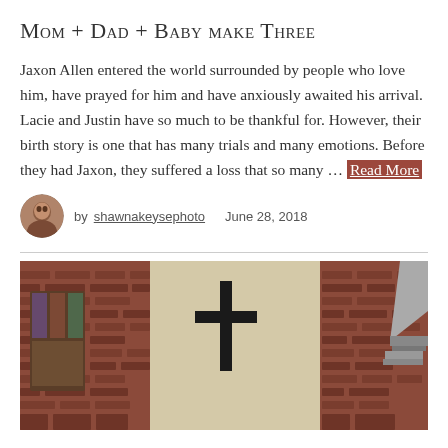Mom + Dad + Baby make Three
Jaxon Allen entered the world surrounded by people who love him, have prayed for him and have anxiously awaited his arrival. Lacie and Justin have so much to be thankful for. However, their birth story is one that has many trials and many emotions. Before they had Jaxon, they suffered a loss that so many … Read More
by shawnakeysephoto   June 28, 2018
[Figure (photo): Exterior of a brick church building with a large dark cross mounted on the facade, blue cloudy sky visible in the upper right]